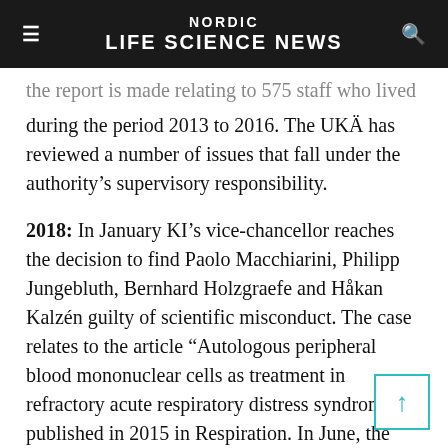NORDIC LIFE SCIENCE NEWS
...the report is made relating to 575 staff who lived during the period 2013 to 2016. The UKÄ has reviewed a number of issues that fall under the authority's supervisory responsibility.
2018: In January KI's vice-chancellor reaches the decision to find Paolo Macchiarini, Philipp Jungebluth, Bernhard Holzgraefe and Håkan Kalzén guilty of scientific misconduct. The case relates to the article "Autologous peripheral blood mononuclear cells as treatment in refractory acute respiratory distress syndrome", published in 2015 in Respiration. In June, the President of KI made the decision to find seven researchers responsible for scientific misconduct in